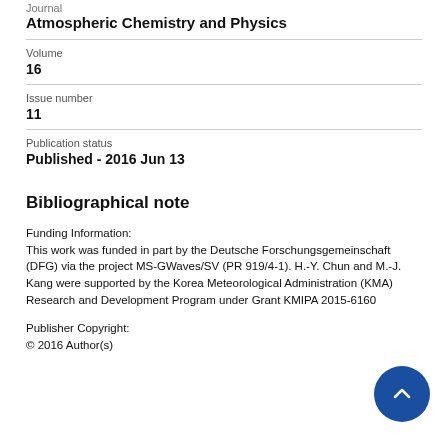Journal
Atmospheric Chemistry and Physics
Volume
16
Issue number
11
Publication status
Published - 2016 Jun 13
Bibliographical note
Funding Information:
This work was funded in part by the Deutsche Forschungsgemeinschaft (DFG) via the project MS-GWaves/SV (PR 919/4-1). H.-Y. Chun and M.-J. Kang were supported by the Korea Meteorological Administration (KMA) Research and Development Program under Grant KMIPA 2015-6160
Publisher Copyright:
© 2016 Author(s)